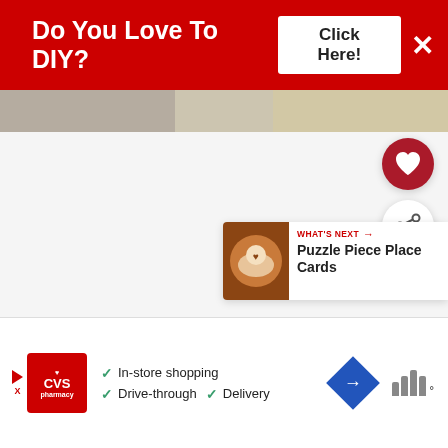[Figure (screenshot): Red banner ad with text 'Do You Love To DIY?' and 'Click Here!' button and X close button]
[Figure (photo): Partial image strip showing food/craft photos at top of page]
[Figure (illustration): Red circular heart/favorite button (FAB)]
[Figure (illustration): White circular share button (FAB)]
[Figure (screenshot): What's Next card showing 'Puzzle Piece Place Cards' with thumbnail image]
[Figure (screenshot): CVS Pharmacy advertisement banner showing in-store shopping, drive-through, and delivery options]